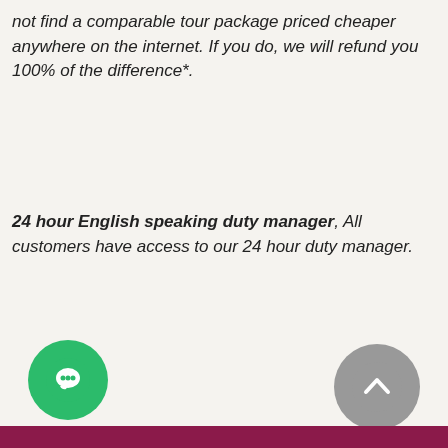not find a comparable tour package priced cheaper anywhere on the internet. If you do, we will refund you 100% of the difference*.
24 hour English speaking duty manager, All customers have access to our 24 hour duty manager.
[Figure (other): Green circular chat/messenger button icon]
[Figure (other): Gray circular scroll-to-top button with upward chevron icon]